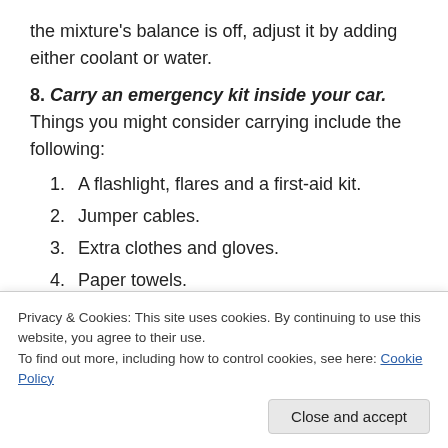the mixture's balance is off, adjust it by adding either coolant or water.
8. Carry an emergency kit inside your car. Things you might consider carrying include the following:
1. A flashlight, flares and a first-aid kit.
2. Jumper cables.
3. Extra clothes and gloves.
4. Paper towels.
5. Extra washer fluid.
6. Food and water.
Privacy & Cookies: This site uses cookies. By continuing to use this website, you agree to their use.
To find out more, including how to control cookies, see here: Cookie Policy
Close and accept